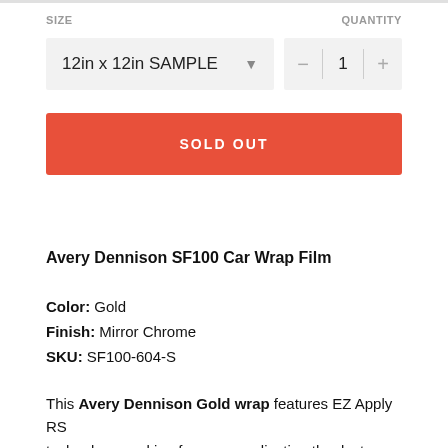SIZE
QUANTITY
12in x 12in SAMPLE
1
[Figure (screenshot): Sold Out button in red/orange color]
Avery Dennison SF100 Car Wrap Film
Color: Gold
Finish: Mirror Chrome
SKU: SF100-604-S
This Avery Dennison Gold wrap features EZ Apply RS technology, making for easy application thanks to added bubble